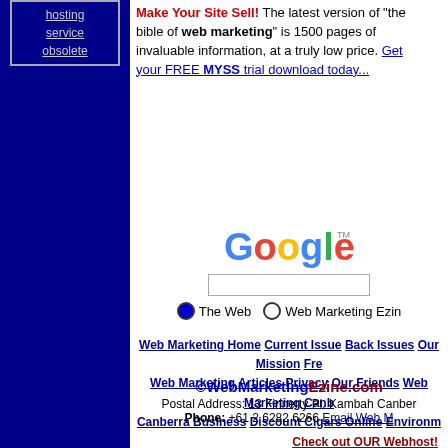[Figure (other): Left sidebar with dark navy blue background containing a box with underlined text: hosting, service, obsolete]
Make Your Site Sell! The latest version of "the bible of web marketing" is 1500 pages of invaluable information, at a truly low price. Get your FREE MYSS trial download today...
[Figure (other): Google search widget with logo, search input box, and radio buttons for The Web and Web Marketing Ezine]
Web Marketing Home Current Issue Back Issues Our Mission Fre... Web Marketing Articles Privacy Our Friends Web Marketing Canb... Canberra Business Discount Cigars Online Environm...
©WebMarketingEzine.com
Postal Address: 13 Finnerty Pl. Kambah Canber...
Phone: +61 2 6282 6266 Email Web M...
Check out OUR Webhost!
Online Marketing and SEO by Under...